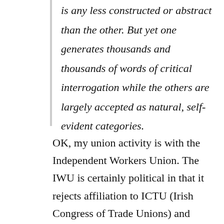is any less constructed or abstract than the other. But yet one generates thousands and thousands of words of critical interrogation while the others are largely accepted as natural, self-evident categories.
OK, my union activity is with the Independent Workers Union. The IWU is certainly political in that it rejects affiliation to ICTU (Irish Congress of Trade Unions) and social partnership (the former being the framework for enforcing the latter, in our opinion). We are also different from "mainstream" unions in many other